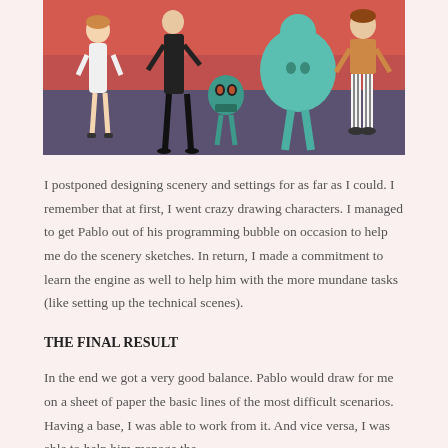[Figure (illustration): Illustrated characters standing in a row against a red and purple background. Characters include a woman in white dress, a tall thin figure in black, a teal robot/creature, a large teal round figure, and a figure with striped pants.]
I postponed designing scenery and settings for as far as I could. I remember that at first, I went crazy drawing characters. I managed to get Pablo out of his programming bubble on occasion to help me do the scenery sketches. In return, I made a commitment to learn the engine as well to help him with the more mundane tasks (like setting up the technical scenes).
THE FINAL RESULT
In the end we got a very good balance. Pablo would draw for me on a sheet of paper the basic lines of the most difficult scenarios. Having a base, I was able to work from it. And vice versa, I was able to help him manage the